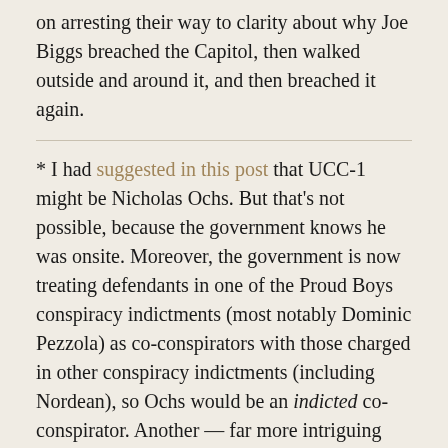on arresting their way to clarity about why Joe Biggs breached the Capitol, then walked outside and around it, and then breached it again.
* I had suggested in this post that UCC-1 might be Nicholas Ochs. But that's not possible, because the government knows he was onsite. Moreover, the government is now treating defendants in one of the Proud Boys conspiracy indictments (most notably Dominic Pezzola) as co-conspirators with those charged in other conspiracy indictments (including Nordean), so Ochs would be an indicted co-conspirator. Another — far more intriguing possibility — is that it is James Sullivan (who might have a leadership role in Utah's Proud Boys), who was in contact with Rudy Giuliani about the insurrection